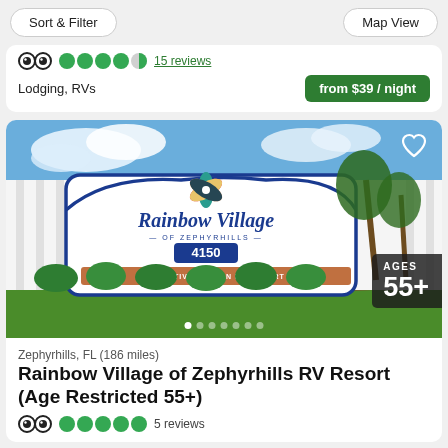Sort & Filter
Map View
[Figure (screenshot): TripAdvisor owl logo with 4.5 green circle stars and '15 reviews' link in green]
Lodging, RVs
from $39 / night
[Figure (photo): Rainbow Village of Zephyrhills RV Resort entrance sign with colorful pinwheel logo, palm trees and landscaping in background. Sign reads: Rainbow Village OF ZEPHYRHILLS 4150 AN ACTIVE 55+ SUN RV RESORT. Heart icon top right. AGES 55+ badge bottom right.]
Zephyrhills, FL (186 miles)
Rainbow Village of Zephyrhills RV Resort (Age Restricted 55+)
5 reviews